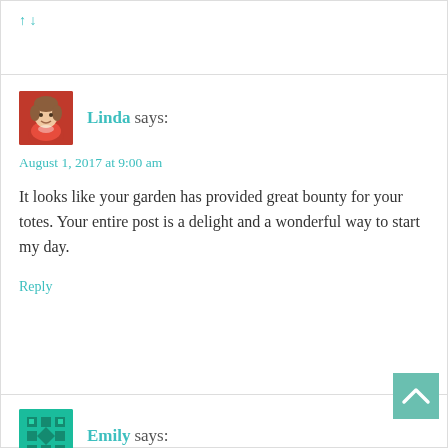↑ ↓ (truncated top comment link)
Linda says:
August 1, 2017 at 9:00 am
It looks like your garden has provided great bounty for your totes. Your entire post is a delight and a wonderful way to start my day.
Reply
Emily says: